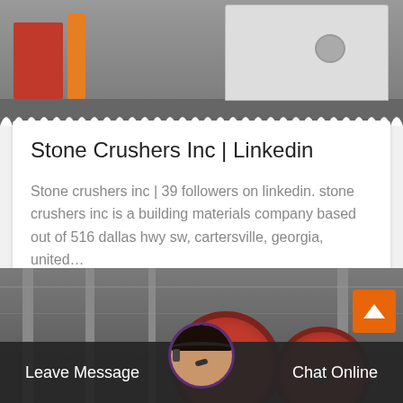[Figure (photo): Industrial stone crusher machine photographed outdoors, white/grey body with red structural components, on concrete floor]
Stone Crushers Inc | Linkedin
Stone crushers inc | 39 followers on linkedin. stone crushers inc is a building materials company based out of 516 dallas hwy sw, cartersville, georgia, united…
[Figure (photo): Industrial factory interior with large red flywheel components and metal columns/scaffolding]
Leave Message
Chat Online